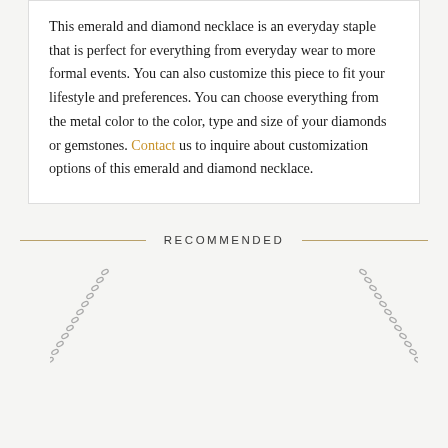This emerald and diamond necklace is an everyday staple that is perfect for everything from everyday wear to more formal events. You can also customize this piece to fit your lifestyle and preferences. You can choose everything from the metal color to the color, type and size of your diamonds or gemstones. Contact us to inquire about customization options of this emerald and diamond necklace.
RECOMMENDED
[Figure (photo): Two silver necklace chains visible at the bottom of the page, one on the left and one on the right, against a light background]